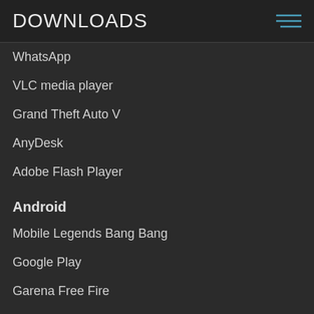DOWNLOADS
WhatsApp
VLC media player
Grand Theft Auto V
AnyDesk
Adobe Flash Player
Android
Mobile Legends Bang Bang
Google Play
Garena Free Fire
Roblox
IndyCall
Mac
Netflix
Auto Mouse Click